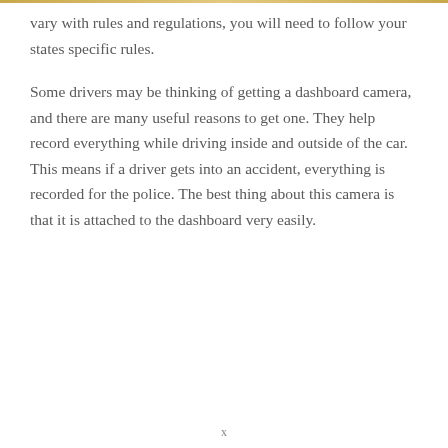vary with rules and regulations, you will need to follow your states specific rules.
Some drivers may be thinking of getting a dashboard camera, and there are many useful reasons to get one. They help record everything while driving inside and outside of the car. This means if a driver gets into an accident, everything is recorded for the police. The best thing about this camera is that it is attached to the dashboard very easily.
x